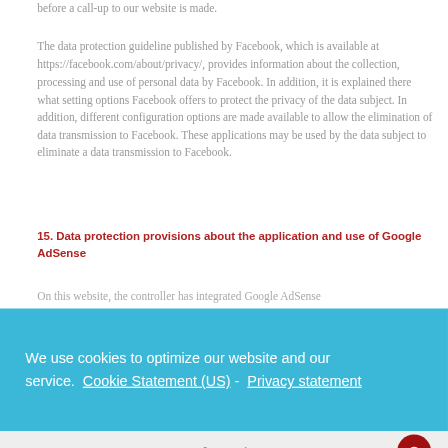before a call-up to our website is made.
The data protection guideline published by Facebook, which is available at https://facebook.com/about/privacy/, provides information about the collection, processing and use of personal data by Facebook. In addition, it is explained there what setting options Facebook offers to protect the privacy of the data subject. In addition, different configuration options are made available to allow the elimination of data transmission to Facebook. These applications may be used by the data subject to eliminate a data transmission to Facebook.
15. Data protection provisions about the application and use of Google AdSense
On this website, the controller has integrated Google AdSense
We use cookies to optimize our website and our service.  Cookie Statement (US)  -  Privacy statement
Accept
The competition program of Google AdSense contains an